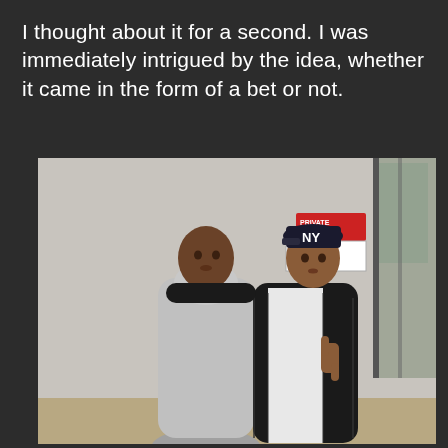I thought about it for a second. I was immediately intrigued by the idea, whether it came in the form of a bet or not.
[Figure (photo): Two young men posing together indoors. The taller one on the left wears a grey hoodie. The one on the right wears a black puffer jacket over a white shirt and a NY Yankees cap, and is making a hand gesture. A 'PRIVATE PROPERTY NO LITTERING' sign is visible on the wall behind them.]